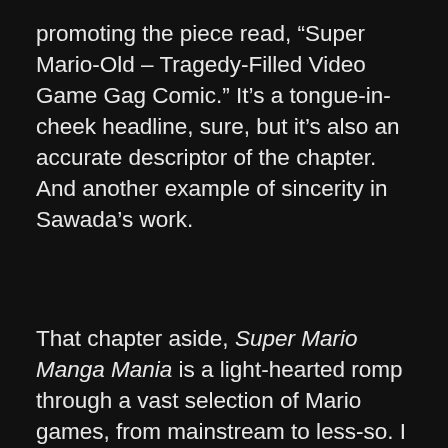promoting the piece read, “Super Mario-Old – Tragedy-Filled Video Game Gag Comic.” It’s a tongue-in-cheek headline, sure, but it’s also an accurate descriptor of the chapter. And another example of sincerity in Sawada’s work.
That chapter aside, Super Mario Manga Mania is a light-hearted romp through a vast selection of Mario games, from mainstream to less-so. I have a bad tendency of reading manga quickly, deriving more from the words than the images. If you’re like that too, cut it out. Slowing down to appreciate the framing, distortion, and emotion in the illustrations enhances the jokes and helps the humor transcend age. I know I managed to appreciate it, anyway. And